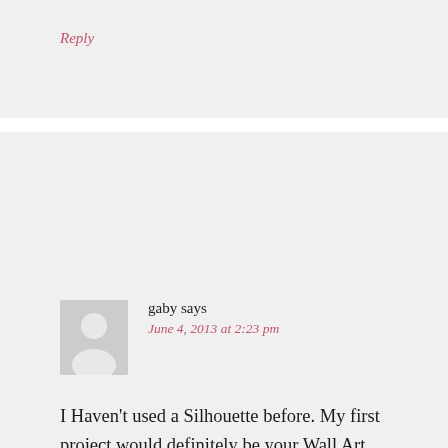Reply
gaby says
June 4, 2013 at 2:23 pm
I Haven't used a Silhouette before. My first project would definitely be your Wall Art tutorial. This is such an awesome giveaway- thanks Nikki and Silhouette.
Reply